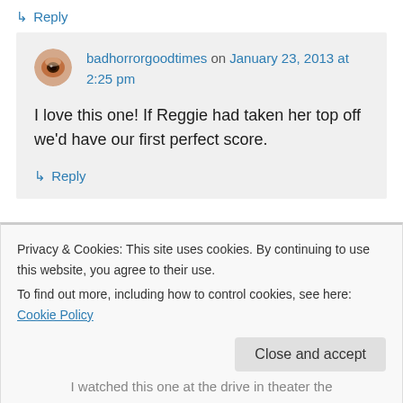↳ Reply
badhorrorgoodtimes on January 23, 2013 at 2:25 pm
I love this one! If Reggie had taken her top off we'd have our first perfect score.
↳ Reply
Privacy & Cookies: This site uses cookies. By continuing to use this website, you agree to their use.
To find out more, including how to control cookies, see here: Cookie Policy
Close and accept
I watched this one at the drive in theater the